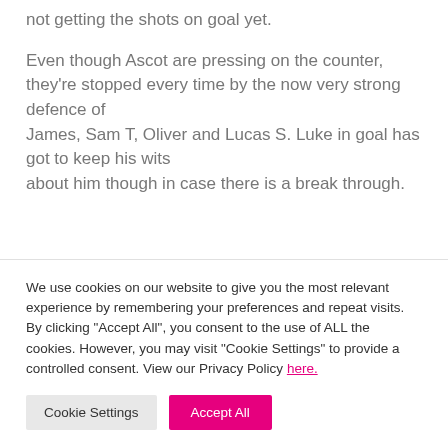not getting the shots on goal yet.
Even though Ascot are pressing on the counter, they're stopped every time by the now very strong defence of James, Sam T, Oliver and Lucas S. Luke in goal has got to keep his wits about him though in case there is a break through.
We use cookies on our website to give you the most relevant experience by remembering your preferences and repeat visits. By clicking "Accept All", you consent to the use of ALL the cookies. However, you may visit "Cookie Settings" to provide a controlled consent. View our Privacy Policy here.